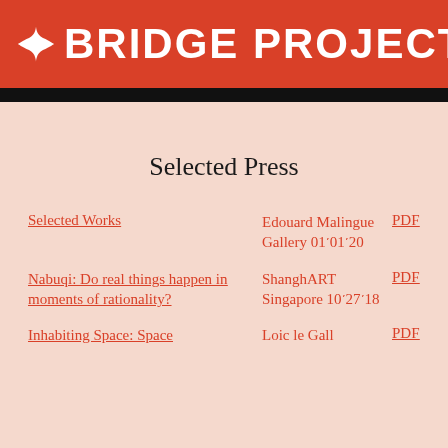✦ BRIDGE PROJECTS
Selected Press
Selected Works | Edouard Malingue Gallery 01.01.20 | PDF
Nabuqi: Do real things happen in moments of rationality? | ShanghART Singapore 10.27.18 | PDF
Inhabiting Space: Space | Loic le Gall | PDF